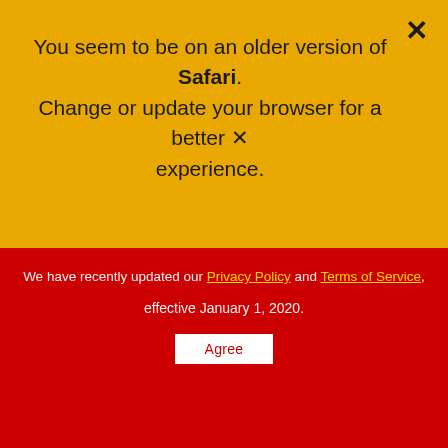[Figure (screenshot): Yellow browser notification banner warning about older Safari version, with red privacy policy update overlay showing Privacy Policy and Terms of Service links, an Agree button, and underneath a car investment advertisement page with 'INVEST NOW!' text and a Tesla car photo, plus a 'We're offline / Leave a message' chat widget.]